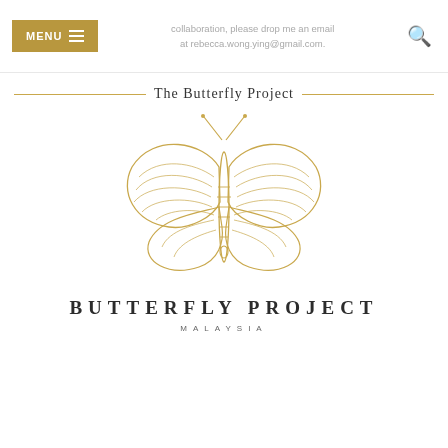collaboration, please drop me an email at rebecca.wong.ying@gmail.com.
The Butterfly Project
[Figure (logo): Gold line-art butterfly illustration above text 'BUTTERFLY PROJECT MALAYSIA']
BUTTERFLY PROJECT
MALAYSIA